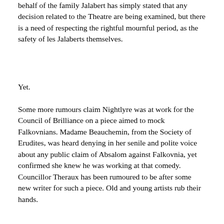behalf of the family Jalabert has simply stated that any decision related to the Theatre are being examined, but there is a need of respecting the rightful mournful period, as the safety of les Jalaberts themselves.
Yet.
Some more rumours claim Nightlyre was at work for the Council of Brilliance on a piece aimed to mock Falkovnians. Madame Beauchemin, from the Society of Erudites, was heard denying in her senile and polite voice about any public claim of Absalom against Falkovnia, yet confirmed she knew he was working at that comedy. Councillor Theraux has been rumoured to be after some new writer for such a piece. Old and young artists rub their hands.
And...
... the war between Falkovnia and Darkon keeps on. From some darker corner of the slums, in whispered words, someone comment about Nightlyre having been part of some plot against King Azalin himself. Patrons of the Muse Endiablée shrug at these comments, while the owners simply nod at it as a possibility.
Amen.
From St.Mere no official comments have been produced by the Torets, nor by Inquisitor Focolari. It has been noted that visitor Ambassador Popovici has held a short funeral ritual for